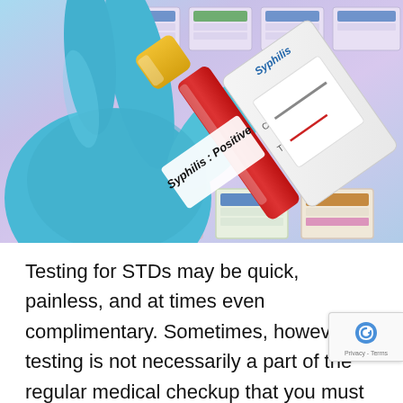[Figure (photo): A blue-gloved hand holding a red-capped blood collection tube labeled 'Syphilis : Positive' along with a rapid test cassette showing positive result. Background shows blurred purple/lavender specimen storage trays.]
Testing for STDs may be quick, painless, and at times even complimentary. Sometimes, however, testing is not necessarily a part of the regular medical checkup that you must annually submit to for it. For example, having an STD is no longer something to be taken lightly. With that in mind, if you or a loved one has recently been tested for an STD, you might be thinking